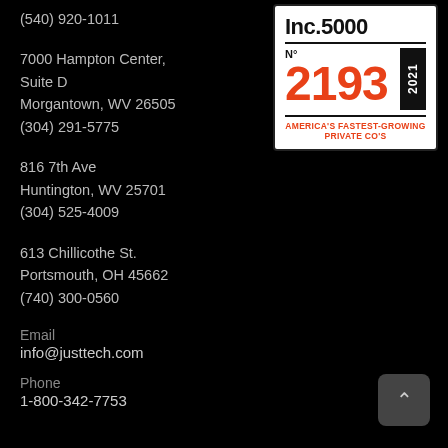(540) 920-1011
7000 Hampton Center, Suite D
Morgantown, WV 26505
(304) 291-5775
[Figure (logo): Inc. 5000 badge — N° 2193, 2021, America's Fastest-Growing Private Co's]
816 7th Ave
Huntington, WV 25701
(304) 525-4009
613 Chillicothe St.
Portsmouth, OH 45662
(740) 300-0560
Email
info@justtech.com
Phone
1-800-342-7753